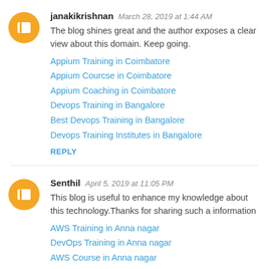janakikrishnan  March 28, 2019 at 1:44 AM
The blog shines great and the author exposes a clear view about this domain. Keep going.
Appium Training in Coimbatore
Appium Courcse in Coimbatore
Appium Coaching in Coimbatore
Devops Training in Bangalore
Best Devops Training in Bangalore
Devops Training Institutes in Bangalore
REPLY
Senthil  April 5, 2019 at 11:05 PM
This blog is useful to enhance my knowledge about this technology.Thanks for sharing such a information
AWS Training in Anna nagar
DevOps Training in Anna nagar
AWS Course in Anna nagar
Devops Training in chennai
Blue Prism Training in Anna nagar
RPA Training in Anna nagar